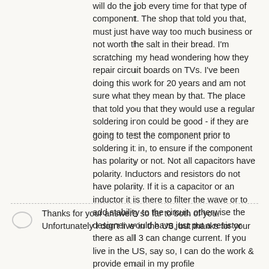will do the job every time for that type of component. The shop that told you that, must just have way too much business or not worth the salt in their bread. I'm scratching my head wondering how they repair circuit boards on TVs. I've been doing this work for 20 years and am not sure what they mean by that. The place that told you that they would use a regular soldering iron could be good - if they are going to test the component prior to soldering it in, to ensure if the component has polarity or not. Not all capacitors have polarity. Inductors and resistors do not have polarity. If it is a capacitor or an inductor it is there to filter the wave or to add stability to the circuit, otherwise the designer would have just put a resistor there as all 3 can change current. If you live in the US, say so, I can do the work & provide email in my profile
ABCellars 於2011年12月31日
Thanks for your answers so far to both of you.
Unfortunately I don't live in the US, but thanks for your